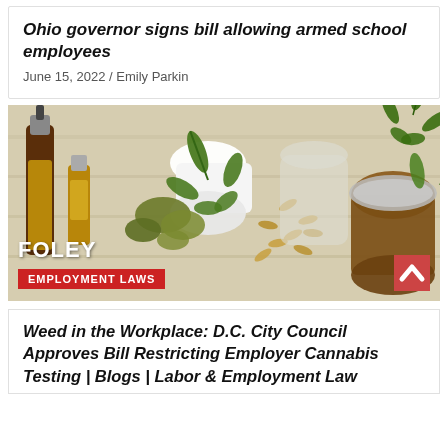Ohio governor signs bill allowing armed school employees
June 15, 2022 / Emily Parkin
[Figure (photo): Photo of cannabis-related products including oil dropper bottles, dried cannabis buds, capsule pills, and a glass jar with cannabis leaves on a wooden surface. Foley 'Employment Laws' branding overlaid at the bottom left.]
Weed in the Workplace: D.C. City Council Approves Bill Restricting Employer Cannabis Testing | Blogs | Labor & Employment Law